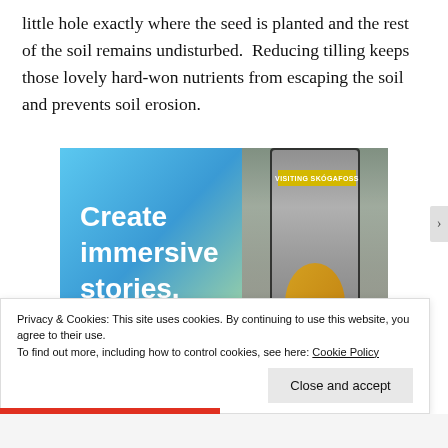little hole exactly where the seed is planted and the rest of the soil remains undisturbed.  Reducing tilling keeps those lovely hard-won nutrients from escaping the soil and prevents soil erosion.
[Figure (screenshot): Advertisement showing 'Create immersive stories.' text on blue-green gradient background with a waterfall image and 'VISITING SKÓGAFOSS' badge on the right side]
Privacy & Cookies: This site uses cookies. By continuing to use this website, you agree to their use.
To find out more, including how to control cookies, see here: Cookie Policy
Close and accept